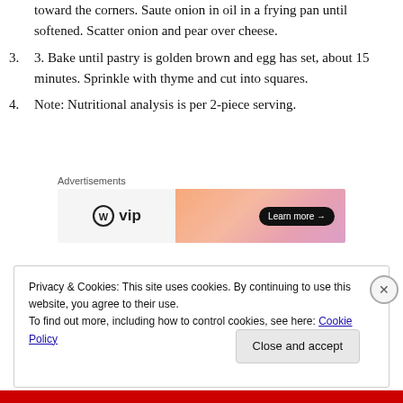toward the corners. Saute onion in oil in a frying pan until softened. Scatter onion and pear over cheese.
3. Bake until pastry is golden brown and egg has set, about 15 minutes. Sprinkle with thyme and cut into squares.
4. Note: Nutritional analysis is per 2-piece serving.
[Figure (screenshot): WordPress VIP advertisement banner with gradient background and Learn more button]
Privacy & Cookies: This site uses cookies. By continuing to use this website, you agree to their use.
To find out more, including how to control cookies, see here: Cookie Policy
Close and accept